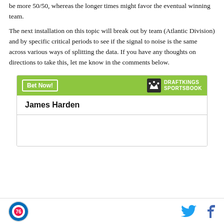be more 50/50, whereas the longer times might favor the eventual winning team.
The next installation on this topic will break out by team (Atlantic Division) and by specific critical periods to see if the signal to noise is the same across various ways of splitting the data. If you have any thoughts on directions to take this, let me know in the comments below.
[Figure (other): DraftKings Sportsbook advertisement widget showing James Harden betting odds. Green header bar with 'Bet Now!' button and DraftKings Sportsbook logo. White body with 'James Harden' name and betting options area.]
Philadelphia 76ers logo | Twitter icon | Facebook icon